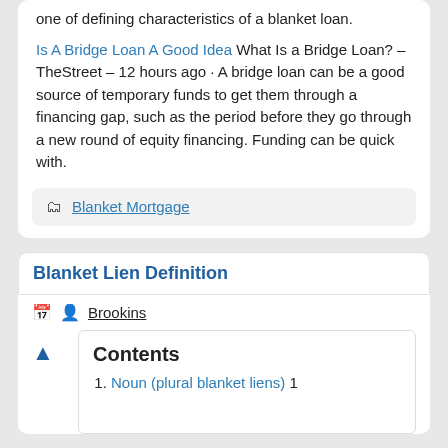one of defining characteristics of a blanket loan.
Is A Bridge Loan A Good Idea What Is a Bridge Loan? – TheStreet – 12 hours ago · A bridge loan can be a good source of temporary funds to get them through a financing gap, such as the period before they go through a new round of equity financing. Funding can be quick with.
Blanket Mortgage
Blanket Lien Definition
Brookins
Contents
1. Noun (plural blanket liens) 1